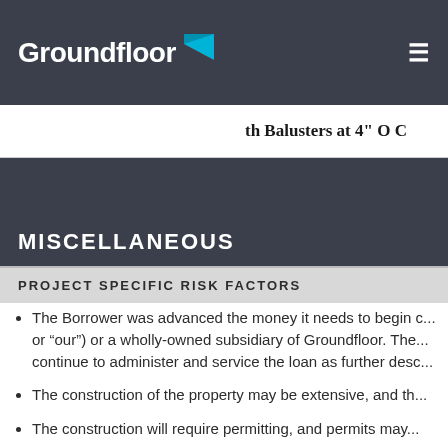Groundfloor
[Figure (other): Partial view of an engineering/architectural diagram showing text 'th Balusters at 4" O C']
MISCELLANEOUS
PROJECT SPECIFIC RISK FACTORS
The Borrower was advanced the money it needs to begin c... or "our") or a wholly-owned subsidiary of Groundfloor. The... continue to administer and service the loan as further desc...
The construction of the property may be extensive, and th...
The construction will require permitting, and permits may...
There will be multiple loans on this project, each represent... represents the aggregate amount of all loans to be secured...
There is no existing structure on this property, or if there...